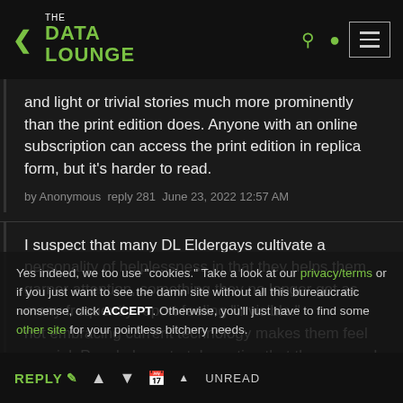THE DATA LOUNGE
and light or trivial stories much more prominently than the print edition does. Anyone with an online subscription can access the print edition in replica form, but it's harder to read.
by Anonymous  reply 281  June 23, 2022 12:57 AM
I suspect that many DL Eldergays cultivate a personality of helplessness in that they helps them garner attention, something they no longer get as many frequently report feeling "invisible." not embracing current technology makes them feel special. People have to take notice that they can only be reached by a land line or that they lack the ability
Yes indeed, we too use "cookies." Take a look at our privacy/terms or if you just want to see the damn site without all this bureaucratic nonsense, click ACCEPT. Otherwise, you'll just have to find some other site for your pointless bitchery needs.
REPLY  ▲  ▼  UNREAD